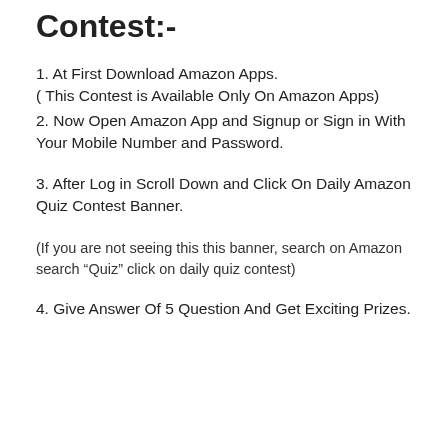Contest:-
1. At First Download Amazon Apps.
( This Contest is Available Only On Amazon Apps)
2. Now Open Amazon App and Signup or Sign in With Your Mobile Number and Password.
3. After Log in Scroll Down and Click On Daily Amazon Quiz Contest Banner.
(If you are not seeing this this banner, search on Amazon search “Quiz” click on daily quiz contest)
4. Give Answer Of 5 Question And Get Exciting Prizes.